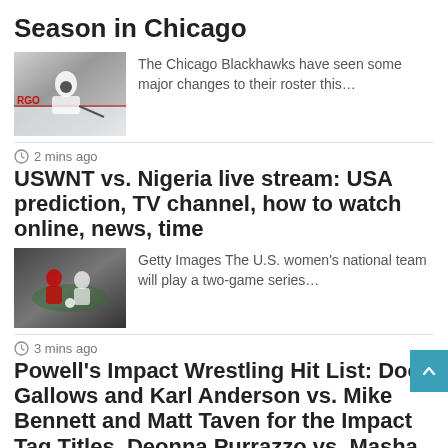Season in Chicago
[Figure (photo): Chicago Blackhawks hockey player on ice near goal]
The Chicago Blackhawks have seen some major changes to their roster this…
2 mins ago
USWNT vs. Nigeria live stream: USA prediction, TV channel, how to watch online, news, time
[Figure (photo): Women's soccer players in action on the field]
Getty Images The U.S. women's national team will play a two-game series…
3 mins ago
Powell's Impact Wrestling Hit List: Doc Gallows and Karl Anderson vs. Mike Bennett and Matt Taven for the Impact Tag Titles, Deonna Purrazzo vs. Masha Slamovich for a shot at the Knockouts Title at Bound For Glory, Mike